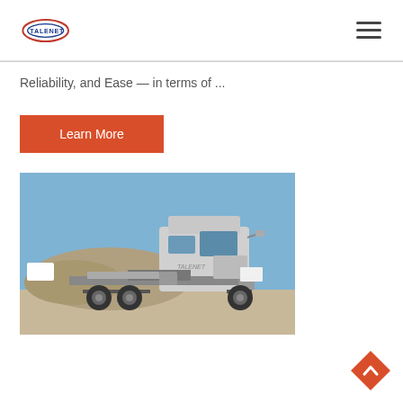TALENET
Reliability, and Ease — in terms of ...
Learn More
[Figure (photo): A silver semi-truck/tractor unit parked in a desert/arid area with hills in the background. The truck is a heavy-duty commercial vehicle with chrome details, shot from the side-front angle.]
[Figure (other): Orange diamond-shaped back-to-top button with an upward chevron arrow]